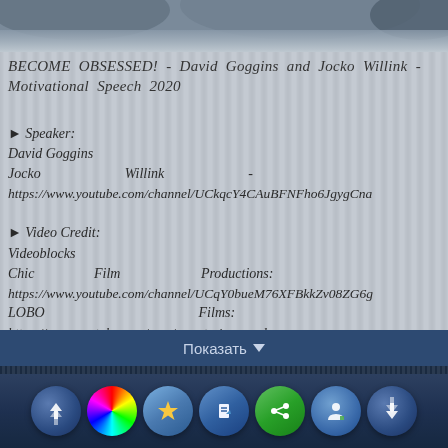[Figure (photo): Top portion of a dark grayscale image showing silhouettes or figures, partially cropped]
BECOME OBSESSED! - David Goggins and Jocko Willink - Motivational Speech 2020
► Speaker:
David Goggins
Jocko                          Willink                          -
https://www.youtube.com/channel/UCkqcY4CAuBFNFho6JgygCna
► Video Credit:
Videoblocks
Chic                     Film                     Productions:
https://www.youtube.com/channel/UCqY0bueM76XFBkkZv08ZG6g
LOBO                                                    Films:
https://www.youtube.com/user/monsterironacademy
Показать ▼
[Figure (screenshot): Application toolbar at bottom with seven circular icon buttons on dark blue background]